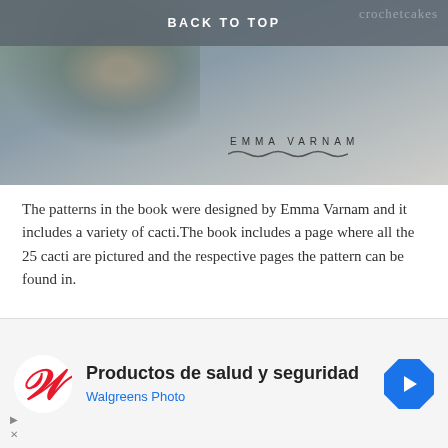[Figure (photo): Top portion of a webpage showing 'BACK TO TOP' button overlaid on a blurred book cover image with 'EMMA VARNAM' text and a wavy line beneath it]
The patterns in the book were designed by Emma Varnam and it includes a variety of cacti.The book includes a page where all the 25 cacti are pictured and the respective pages the pattern can be found in.
Los patrones que encontramos en el libro fueron diseñados por Emma Varnam e incluye una variedad de 25 cacti. El libro incluye una página en la cual puedes apreciar todas las matitas juntitas.
[Figure (screenshot): Advertisement banner for Walgreens Photo showing logo, text 'Productos de salud y seguridad' and 'Walgreens Photo', with a blue diamond navigation icon]